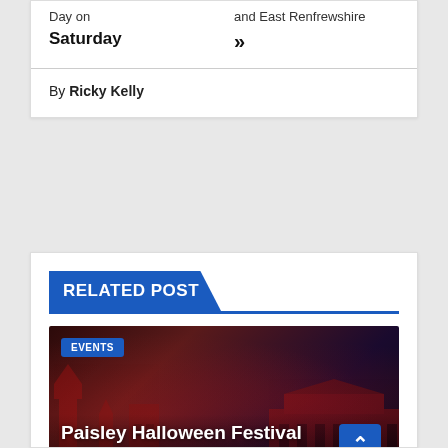Day on Saturday
and East Renfrewshire »
By Ricky Kelly
RELATED POST
[Figure (photo): Dark atmospheric image of Paisley Halloween Festival showing performers with fire and illuminated historic buildings in red/dark tones]
EVENTS
Paisley Halloween Festival returns with spectacular